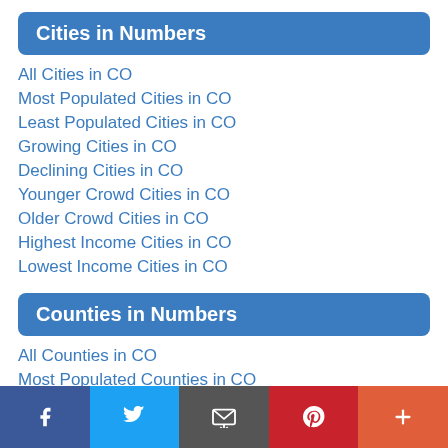Cities in Numbers
All Cities in CO
Most Populated Cities in CO
Least Populated Cities in CO
Growing Cities in CO
Declining Cities in CO
Younger Crowd Cities in CO
Older Crowd Cities in CO
Highest Income Cities in CO
Lowest Income Cities in CO
Counties in Numbers
All Counties in CO
Most Populated Counties in CO
Least Populated Counties in CO
Growing Counties in CO
Declining Counties in CO
Younger Crowd Counties in CO